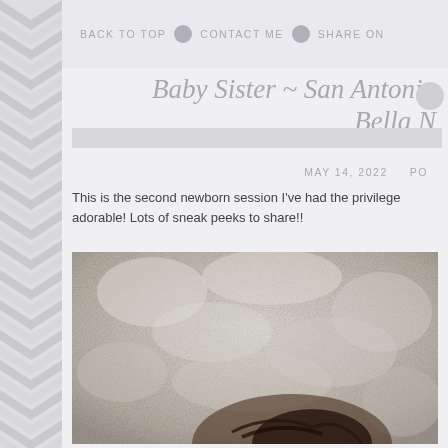BACK TO TOP   CONTACT ME   SHARE ON
Baby Sister ~ San Antonio  Bella N
MAY 14, 2022   PO
This is the second newborn session I've had the privilege adorable! Lots of sneak peeks to share!!
[Figure (photo): Close-up photo of a newborn baby with dark hair, lying on a fluffy textured white/cream surface]